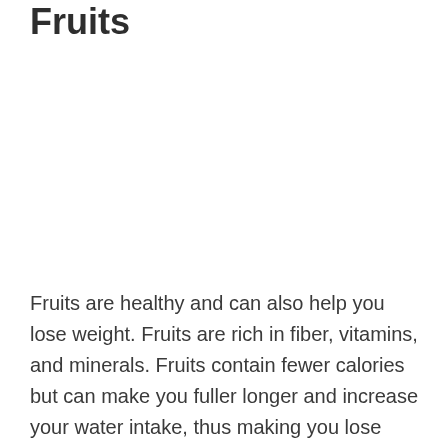Fruits
Fruits are healthy and can also help you lose weight. Fruits are rich in fiber, vitamins, and minerals. Fruits contain fewer calories but can make you fuller longer and increase your water intake, thus making you lose weight.